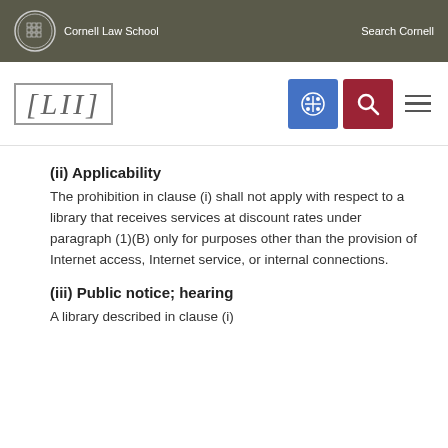Cornell Law School | Search Cornell
[Figure (logo): LII Legal Information Institute logo with Cornell Law School navigation bar]
(ii) Applicability
The prohibition in clause (i) shall not apply with respect to a library that receives services at discount rates under paragraph (1)(B) only for purposes other than the provision of Internet access, Internet service, or internal connections.
(iii) Public notice; hearing
A library described in clause (i)